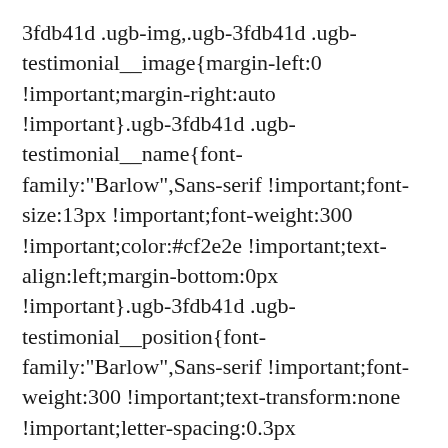3fdb41d .ugb-img,.ugb-3fdb41d .ugb-testimonial__image{margin-left:0 !important;margin-right:auto !important}.ugb-3fdb41d .ugb-testimonial__name{font-family:"Barlow",Sans-serif !important;font-size:13px !important;font-weight:300 !important;color:#cf2e2e !important;text-align:left;margin-bottom:0px !important}.ugb-3fdb41d .ugb-testimonial__position{font-family:"Barlow",Sans-serif !important;font-weight:300 !important;text-transform:none !important;letter-spacing:0.3px !important;color:#000000 !important;text-align:left;margin-bottom:0px !important}.ugb-